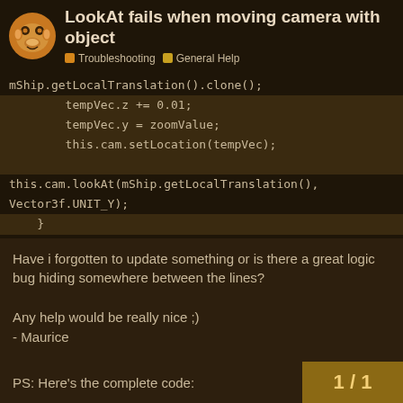LookAt fails when moving camera with object | Troubleshooting | General Help
[Figure (screenshot): Code block showing Java/JME code snippet: mShip.getLocalTranslation().clone(); tempVec.z += 0.01; tempVec.y = zoomValue; this.cam.setLocation(tempVec); this.cam.lookAt(mShip.getLocalTranslation(), Vector3f.UNIT_Y); }]
Have i forgotten to update something or is there a great logic bug hiding somewhere between the lines?

Any help would be really nice ;)
- Maurice
PS: Here's the complete code:
1 / 1